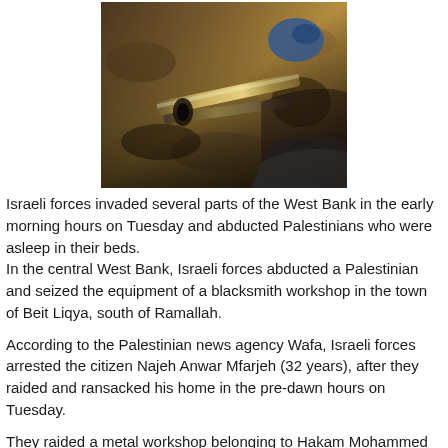[Figure (photo): Overhead photo showing metal pipes or weapons and hands, taken from above on a dirt/ground surface]
Israeli forces invaded several parts of the West Bank in the early morning hours on Tuesday and abducted Palestinians who were asleep in their beds.
In the central West Bank, Israeli forces abducted a Palestinian and seized the equipment of a blacksmith workshop in the town of Beit Liqya, south of Ramallah.
According to the Palestinian news agency Wafa, Israeli forces arrested the citizen Najeh Anwar Mfarjeh (32 years), after they raided and ransacked his home in the pre-dawn hours on Tuesday.
They raided a metal workshop belonging to Hakam Mohammed Dar Mousa and seized equipment.